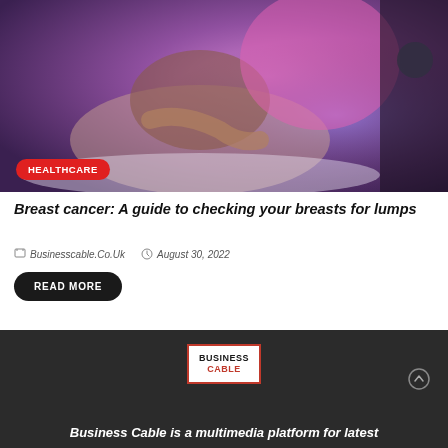[Figure (photo): Medical professional in pink scrubs performing an ultrasound or breast examination on a patient lying on a table in a medical setting with purple lighting]
HEALTHCARE
Breast cancer: A guide to checking your breasts for lumps
Businesscable.Co.Uk  August 30, 2022
READ MORE
[Figure (logo): Business Cable logo — white box with red border, text BUSINESS CABLE where CABLE is in red]
Business Cable is a multimedia platform for latest